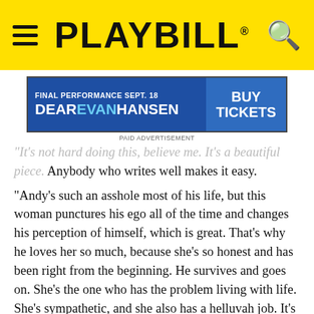PLAYBILL
[Figure (infographic): Dear Evan Hansen advertisement banner: FINAL PERFORMANCE SEPT. 18 | DEAR EVAN HANSEN | BUY TICKETS]
PAID ADVERTISEMENT
“It’s not hard doing this, believe me. It’s a beautiful piece. Anybody who writes well makes it easy.
“Andy’s such an asshole most of his life, but this woman punctures his ego all of the time and changes his perception of himself, which is great. That’s why he loves her so much, because she’s so honest and has been right from the beginning. He survives and goes on. She’s the one who has the problem living with life. She’s sympathetic, and she also has a helluvah job. It’s a privilege to be on stage with Mia. She kinda recycles Elaine Stritch to some extent. This lady is as good an actress as I’ve ever worked with, if not better. Hell, I could work with her for the rest of my life.”